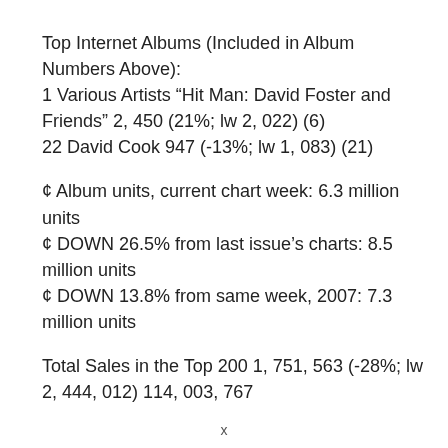Top Internet Albums (Included in Album Numbers Above):
1 Various Artists “Hit Man: David Foster and Friends” 2, 450 (21%; lw 2, 022) (6)
22 David Cook 947 (-13%; lw 1, 083) (21)
¢ Album units, current chart week: 6.3 million units
¢ DOWN 26.5% from last issue’s charts: 8.5 million units
¢ DOWN 13.8% from same week, 2007: 7.3 million units
Total Sales in the Top 200 1, 751, 563 (-28%; lw 2, 444, 012) 114, 003, 767
x